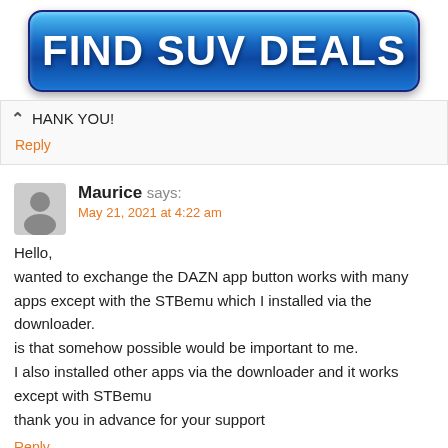[Figure (other): Advertisement banner button with blue gradient background and text 'FIND SUV DEALS' in large white bold font]
HANK YOU!
Reply
Maurice says:
May 21, 2021 at 4:22 am
Hello,
wanted to exchange the DAZN app button works with many apps except with the STBemu which I installed via the downloader.
is that somehow possible would be important to me.
I also installed other apps via the downloader and it works except with STBemu
thank you in advance for your support
Reply